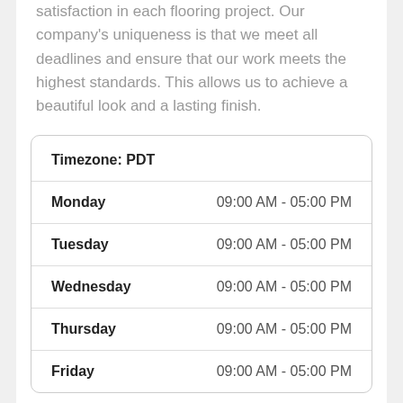satisfaction in each flooring project. Our company's uniqueness is that we meet all deadlines and ensure that our work meets the highest standards. This allows us to achieve a beautiful look and a lasting finish.
| Day | Hours |
| --- | --- |
| Monday | 09:00 AM - 05:00 PM |
| Tuesday | 09:00 AM - 05:00 PM |
| Wednesday | 09:00 AM - 05:00 PM |
| Thursday | 09:00 AM - 05:00 PM |
| Friday | 09:00 AM - 05:00 PM |